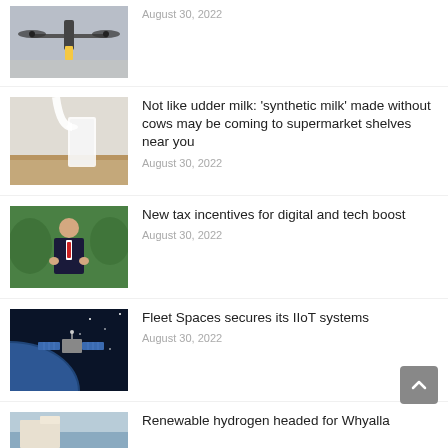[Figure (photo): Drone/UAV aircraft in a hangar or facility]
August 30, 2022
[Figure (photo): Milk being poured into a glass on a wooden surface]
Not like udder milk: ‘synthetic milk’ made without cows may be coming to supermarket shelves near you
August 30, 2022
[Figure (photo): Man in a dark suit speaking outdoors in a park setting]
New tax incentives for digital and tech boost
August 30, 2022
[Figure (photo): Satellite in orbit above Earth]
Fleet Spaces secures its IIoT systems
August 30, 2022
[Figure (photo): Partial image at bottom of page]
Renewable hydrogen headed for Whyalla